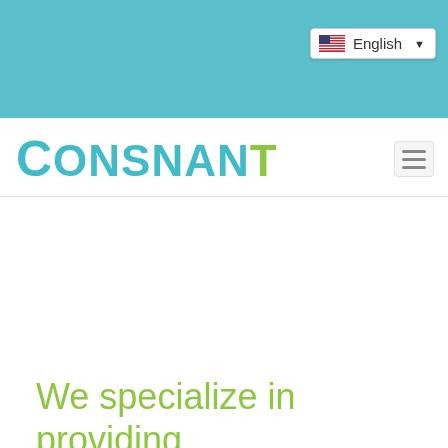[Figure (logo): Consnant company logo with teal/cyan colored text and a green leaf accent on the T]
English (language selector dropdown in top navigation bar)
We specialize in providing